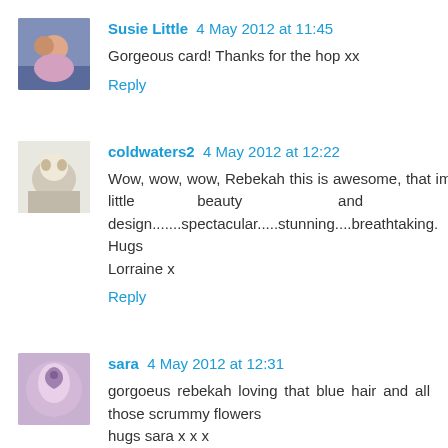Susie Little 4 May 2012 at 11:45
Gorgeous card! Thanks for the hop xx
Reply
coldwaters2 4 May 2012 at 12:22
Wow, wow, wow, Rebekah this is awesome, that image is a little beauty and the design.......spectacular.....stunning....breathtaking.
Hugs
Lorraine x
Reply
sara 4 May 2012 at 12:31
gorgoeus rebekah loving that blue hair and all those scrummy flowers
hugs sara x x x
Reply